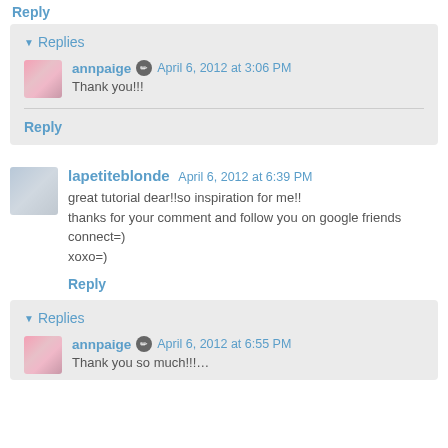Reply
Replies
annpaige  April 6, 2012 at 3:06 PM
Thank you!!!
Reply
lapetiteblonde  April 6, 2012 at 6:39 PM
great tutorial dear!!so inspiration for me!!
thanks for your comment and follow you on google friends connect=)
xoxo=)
Reply
Replies
annpaige  April 6, 2012 at 6:55 PM
Thank you so much!!!